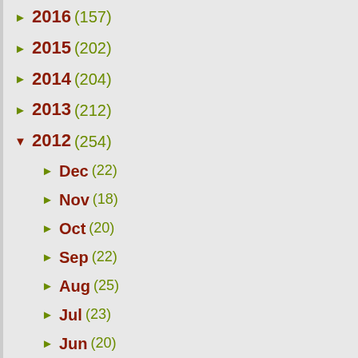► 2016 (157)
► 2015 (202)
► 2014 (204)
► 2013 (212)
▼ 2012 (254)
► Dec (22)
► Nov (18)
► Oct (20)
► Sep (22)
► Aug (25)
► Jul (23)
► Jun (20)
► May (18)
► Apr (18)
▼ Mar (22)
Classic Poetry - Integer Vitae by Thomas Campion